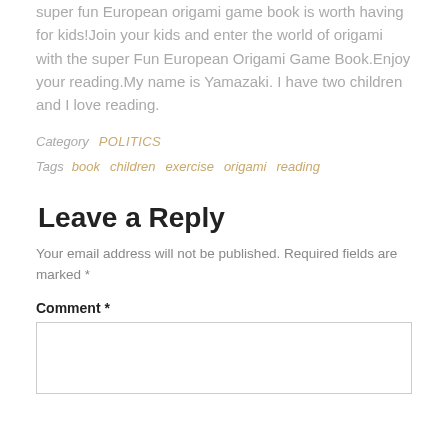super fun European origami game book is worth having for kids!Join your kids and enter the world of origami with the super Fun European Origami Game Book.Enjoy your reading.My name is Yamazaki. I have two children and I love reading.
Category   POLITICS
Tags   book   children   exercise   origami   reading
Leave a Reply
Your email address will not be published. Required fields are marked *
Comment *